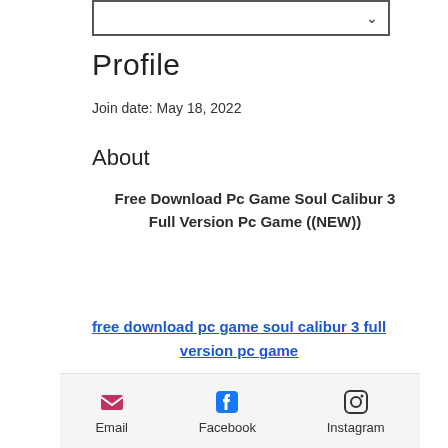Profile
Join date: May 18, 2022
About
Free Download Pc Game Soul Calibur 3 Full Version Pc Game ((NEW))
free download pc game soul calibur 3 full version pc game
Email  Facebook  Instagram